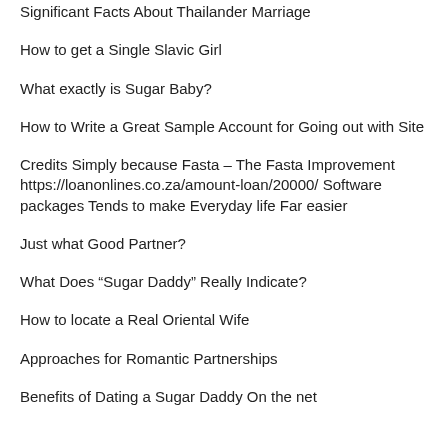Significant Facts About Thailander Marriage
How to get a Single Slavic Girl
What exactly is Sugar Baby?
How to Write a Great Sample Account for Going out with Site
Credits Simply because Fasta – The Fasta Improvement https://loanonlines.co.za/amount-loan/20000/ Software packages Tends to make Everyday life Far easier
Just what Good Partner?
What Does “Sugar Daddy” Really Indicate?
How to locate a Real Oriental Wife
Approaches for Romantic Partnerships
Benefits of Dating a Sugar Daddy On the net